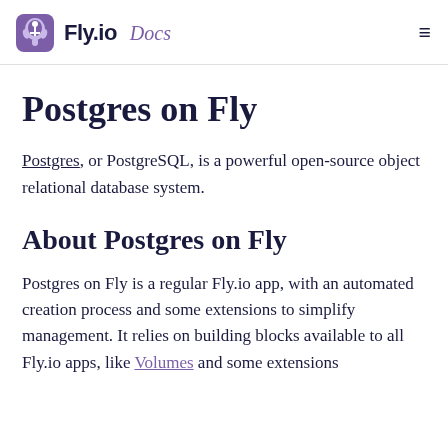Fly.io Docs
Postgres on Fly
Postgres, or PostgreSQL, is a powerful open-source object relational database system.
About Postgres on Fly
Postgres on Fly is a regular Fly.io app, with an automated creation process and some extensions to simplify management. It relies on building blocks available to all Fly.io apps, like Volumes and some extensions